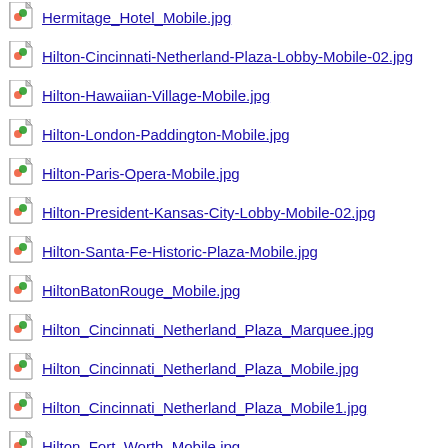Hermitage_Hotel_Mobile.jpg
Hilton-Cincinnati-Netherland-Plaza-Lobby-Mobile-02.jpg
Hilton-Hawaiian-Village-Mobile.jpg
Hilton-London-Paddington-Mobile.jpg
Hilton-Paris-Opera-Mobile.jpg
Hilton-President-Kansas-City-Lobby-Mobile-02.jpg
Hilton-Santa-Fe-Historic-Plaza-Mobile.jpg
HiltonBatonRouge_Mobile.jpg
Hilton_Cincinnati_Netherland_Plaza_Marquee.jpg
Hilton_Cincinnati_Netherland_Plaza_Mobile.jpg
Hilton_Cincinnati_Netherland_Plaza_Mobile1.jpg
Hilton_Fort_Worth_Mobile.jpg